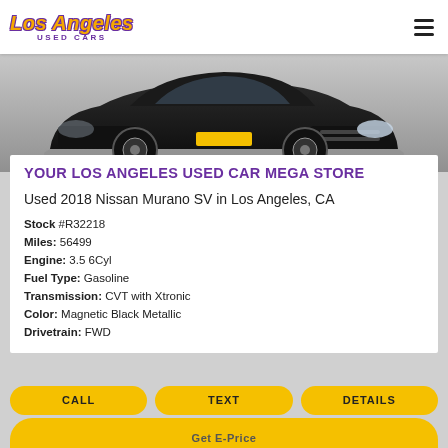Los Angeles USED CARS
[Figure (photo): Front view of a black Nissan Murano SUV on a grey background]
YOUR LOS ANGELES USED CAR MEGA STORE
Used 2018 Nissan Murano SV in Los Angeles, CA
Stock #R32218
Miles: 56499
Engine: 3.5 6Cyl
Fuel Type: Gasoline
Transmission: CVT with Xtronic
Color: Magnetic Black Metallic
Drivetrain: FWD
CALL
TEXT
DETAILS
Get E-Price